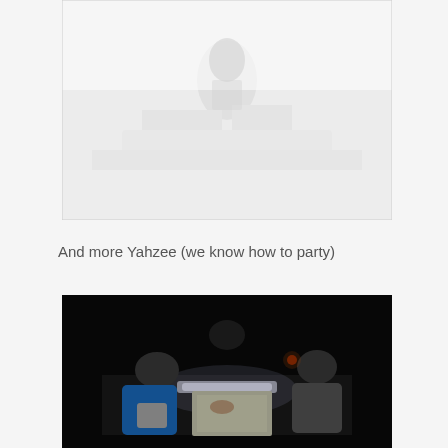[Figure (photo): A very light/washed-out photograph showing people around a table, very overexposed with pale white tones, barely visible figures and objects.]
And more Yahzee (we know how to party)
[Figure (photo): A dark photograph of people playing a board game at a table lit by a bright LED light strip, taken in near-darkness. Two people are visible leaning over the game board.]